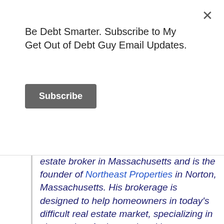Be Debt Smarter. Subscribe to My Get Out of Debt Guy Email Updates.
Subscribe
estate broker in Massachusetts and is the founder of Northeast Properties in Norton, Massachusetts. His brokerage is designed to help homeowners in today's difficult real estate market, specializing in short sales. Andy speaks with Massachusetts homeowners every day, helping them to address their